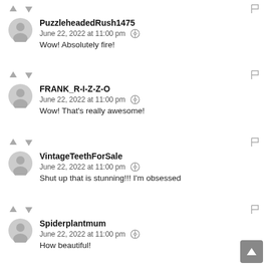PuzzleheadedRush1475 — June 22, 2022 at 11:00 pm — Wow! Absolutely fire!
FRANK_R-I-Z-Z-O — June 22, 2022 at 11:00 pm — Wow! That's really awesome!
VintageTeethForSale — June 22, 2022 at 11:00 pm — Shut up that is stunning!!! I'm obsessed
Spiderplantmum — June 22, 2022 at 11:00 pm — How beautiful!